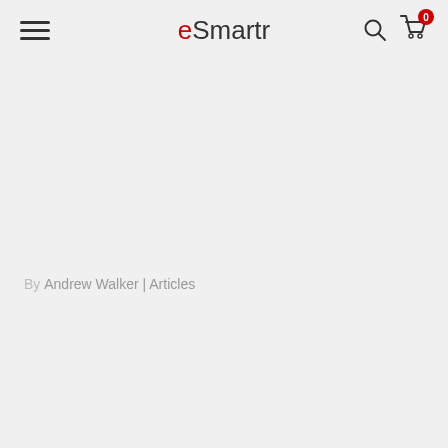eSmartr — navigation header with hamburger menu, logo, search and cart icons
By Andrew Walker | Articles